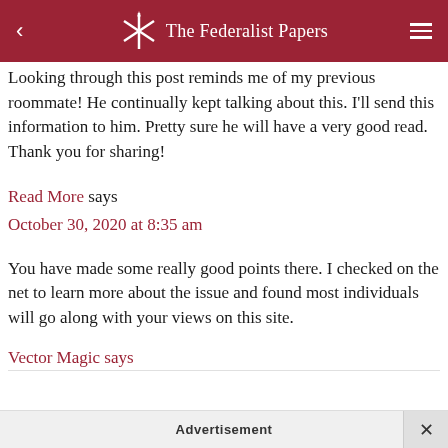The Federalist Papers
Looking through this post reminds me of my previous roommate! He continually kept talking about this. I'll send this information to him. Pretty sure he will have a very good read. Thank you for sharing!
Read More says
October 30, 2020 at 8:35 am
You have made some really good points there. I checked on the net to learn more about the issue and found most individuals will go along with your views on this site.
Vector Magic says
Advertisement